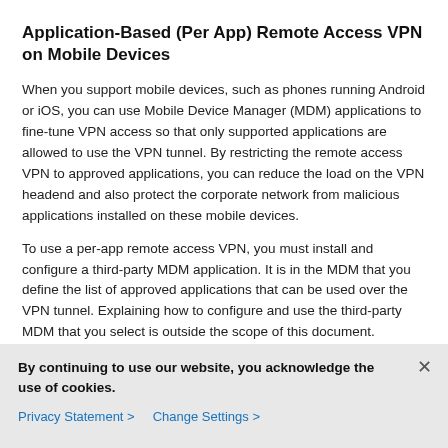Application-Based (Per App) Remote Access VPN on Mobile Devices
When you support mobile devices, such as phones running Android or iOS, you can use Mobile Device Manager (MDM) applications to fine-tune VPN access so that only supported applications are allowed to use the VPN tunnel. By restricting the remote access VPN to approved applications, you can reduce the load on the VPN headend and also protect the corporate network from malicious applications installed on these mobile devices.
To use a per-app remote access VPN, you must install and configure a third-party MDM application. It is in the MDM that you define the list of approved applications that can be used over the VPN tunnel. Explaining how to configure and use the third-party MDM that you select is outside the scope of this document.
The following topics explain how to enable per-app VPN on
By continuing to use our website, you acknowledge the use of cookies.
Privacy Statement > Change Settings >